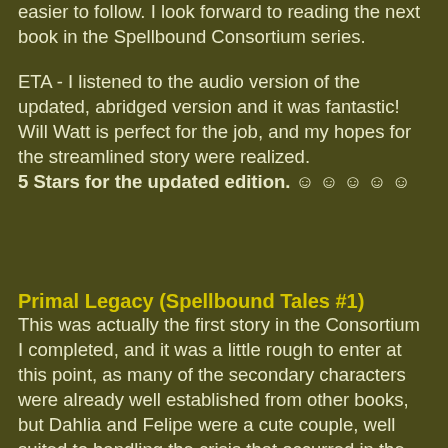easier to follow. I look forward to reading the next book in the Spellbound Consortium series.
ETA - I listened to the audio version of the updated, abridged version and it was fantastic! Will Watt is perfect for the job, and my hopes for the streamlined story were realized.
5 Stars for the updated edition. ☺ ☺ ☺ ☺ ☺
Primal Legacy (Spellbound Tales #1)
This was actually the first story in the Consortium I completed, and it was a little rough to enter at this point, as many of the secondary characters were already well established from other books, but Dahlia and Felipe were a cute couple, well suited to handling the crisis that occurred in the rain forest. I liked that Dahlia was a strong character who could kick ass as well as deal with Felipe and his people